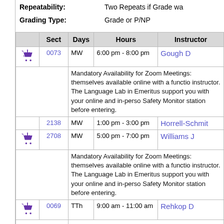Repeatability: Two Repeats if Grade wa
Grading Type: Grade or P/NP
|  | Sect | Days | Hours | Instructor |
| --- | --- | --- | --- | --- |
| [cart] | 0073 | MW | 6:00 pm - 8:00 pm | Gough D |
|  |  |  | Mandatory Availability for Zoom Meetings: themselves available online with a functio instructor. The Language Lab in Emeritus support you with your online and in-perso Safety Monitor station before entering. |  |
|  | 2138 | MW | 1:00 pm - 3:00 pm | Horrell-Schmit |
| [cart] | 2708 | MW | 5:00 pm - 7:00 pm | Williams J |
|  |  |  | Mandatory Availability for Zoom Meetings: themselves available online with a functio instructor. The Language Lab in Emeritus support you with your online and in-perso Safety Monitor station before entering. |  |
| [cart] | 0069 | TTh | 9:00 am - 11:00 am | Rehkop D |
|  |  |  | Mandatory Availability for Zoom Meetings: themselves available online with a functio instructor. The Language Lab in Emeritu |  |